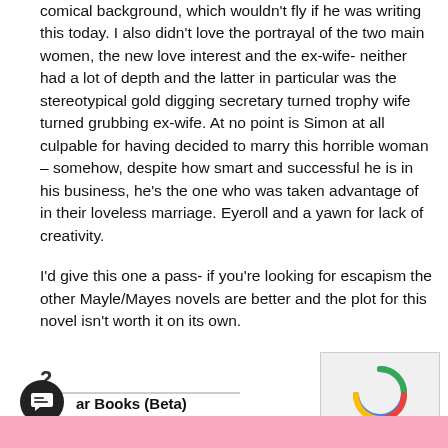comical background, which wouldn't fly if he was writing this today. I also didn't love the portrayal of the two main women, the new love interest and the ex-wife- neither had a lot of depth and the latter in particular was the stereotypical gold digging secretary turned trophy wife turned grubbing ex-wife. At no point is Simon at all culpable for having decided to marry this horrible woman – somehow, despite how smart and successful he is in his business, he's the one who was taken advantage of in their loveless marriage. Eyeroll and a yawn for lack of creativity.
I'd give this one a pass- if you're looking for escapism the other Mayle/Mayes novels are better and the plot for this novel isn't worth it on its own.
2
ar Books (Beta)